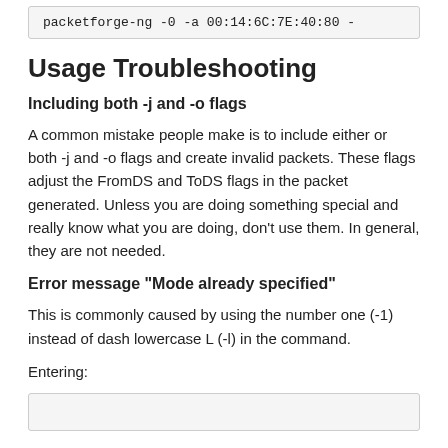[Figure (screenshot): Code block showing partial command: packetforge-ng -0 -a 00:14:6C:7E:40:80 -]
Usage Troubleshooting
Including both -j and -o flags
A common mistake people make is to include either or both -j and -o flags and create invalid packets. These flags adjust the FromDS and ToDS flags in the packet generated. Unless you are doing something special and really know what you are doing, don't use them. In general, they are not needed.
Error message "Mode already specified"
This is commonly caused by using the number one (-1) instead of dash lowercase L (-l) in the command.
Entering:
[Figure (screenshot): Code block at bottom of page, empty/partial]